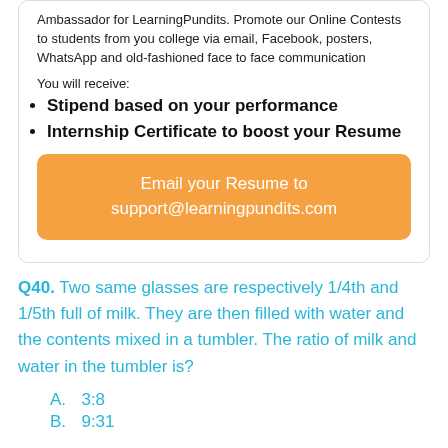Ambassador for LearningPundits. Promote our Online Contests to students from you college via email, Facebook, posters, WhatsApp and old-fashioned face to face communication
You will receive:
Stipend based on your performance
Internship Certificate to boost your Resume
Email your Resume to support@learningpundits.com
Q40. Two same glasses are respectively 1/4th and 1/5th full of milk. They are then filled with water and the contents mixed in a tumbler. The ratio of milk and water in the tumbler is?
A.  3:8
B.  9:31